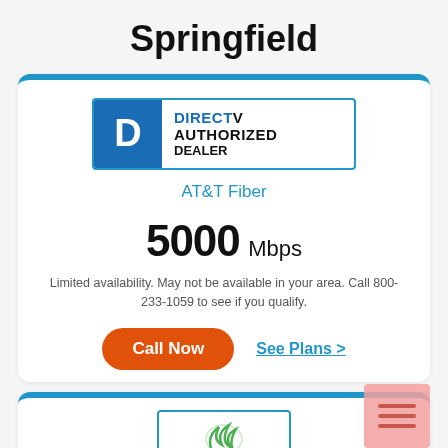Springfield
[Figure (logo): DIRECTV Authorized Dealer logo with blue D icon on left and text DIRECTV AUTHORIZED DEALER on right]
AT&T Fiber
5000 Mbps
Limited availability. May not be available in your area. Call 800-233-1059 to see if you qualify.
Call Now
See Plans >
[Figure (logo): Partial second provider card with green leaf logo visible at bottom]